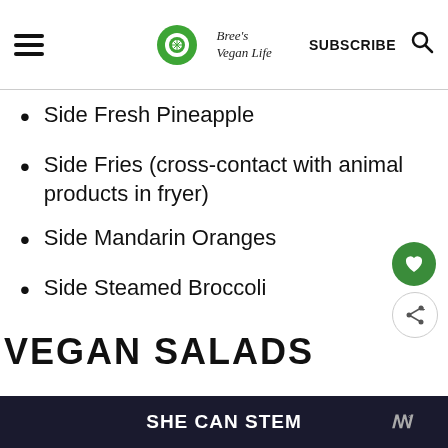Bree's Vegan Life — SUBSCRIBE
Side Fresh Pineapple
Side Fries (cross-contact with animal products in fryer)
Side Mandarin Oranges
Side Steamed Broccoli
VEGAN SALADS
SHE CAN STEM